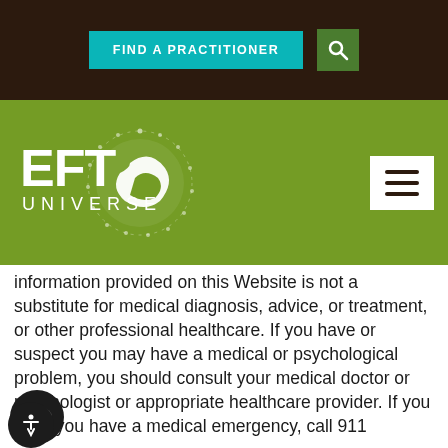[Figure (screenshot): EFT Universe website header with dark brown top navigation bar containing 'FIND A PRACTITIONER' teal button and search icon, and green bar with EFT Universe logo (white bird/leaf graphic)]
information provided on this Website is not a substitute for medical diagnosis, advice, or treatment, or other professional healthcare. If you have or suspect you may have a medical or psychological problem, you should consult your medical doctor or psychologist or appropriate healthcare provider. If you think you have a medical emergency, call 911 immediately. Never disregard or delay medical advice received from your licensed healthcare provider based on information on the Website. Always consult your physician, psychologist, or licensed healthcare provider before seeking new treatment, or before you alter, suspend, or initiate any change in your medical or psychological treatment,